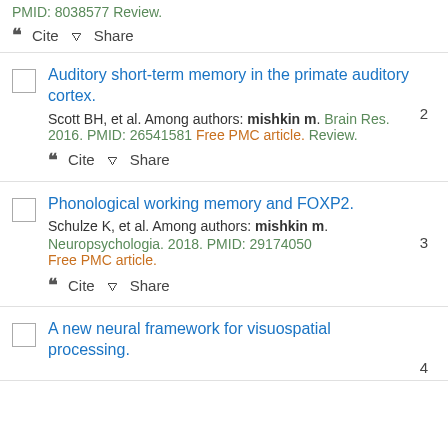PMID: 8038577 Review.
" Cite  Share
Auditory short-term memory in the primate auditory cortex.
Scott BH, et al. Among authors: mishkin m. Brain Res. 2016. PMID: 26541581 Free PMC article. Review.
" Cite  Share
Phonological working memory and FOXP2.
Schulze K, et al. Among authors: mishkin m. Neuropsychologia. 2018. PMID: 29174050 Free PMC article.
" Cite  Share
A new neural framework for visuospatial processing.